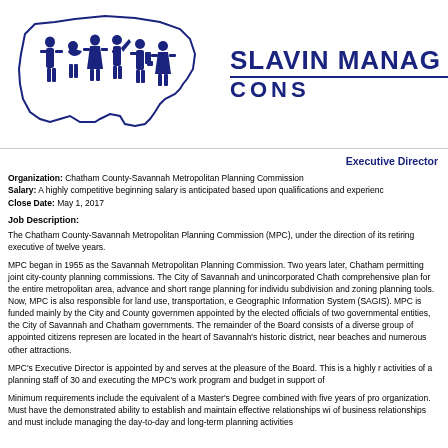[Figure (logo): Slavin Management Consultants logo: silhouette figures of diverse people standing on an outline map of the United States, in dark blue]
SLAVIN MANAGEMENT CONSULTANTS
Executive Director
Organization: Chatham County-Savannah Metropolitan Planning Commission
Salary: A highly competitive beginning salary is anticipated based upon qualifications and experience.
Close Date: May 1, 2017
Job Description:
The Chatham County-Savannah Metropolitan Planning Commission (MPC), under the direction of its retiring executive of twelve years.
MPC began in 1955 as the Savannah Metropolitan Planning Commission. Two years later, Chatham permitting joint city-county planning commissions. The City of Savannah and unincorporated Chatham comprehensive plan for the entire metropolitan area, advance and short range planning for individual subdivision and zoning planning tools. Now, MPC is also responsible for land use, transportation, en Geographic Information System (SAGIS). MPC is funded mainly by the City and County governments appointed by the elected officials of two governmental entities, the City of Savannah and Chatham C governments. The remainder of the Board consists of a diverse group of appointed citizens representing are located in the heart of Savannah's historic district, near beaches and numerous other attractions.
MPC's Executive Director is appointed by and serves at the pleasure of the Board. This is a highly r activities of a planning staff of 30 and executing the MPC's work program and budget in support of
Minimum requirements include the equivalent of a Master's Degree combined with five years of pro organization. Must have the demonstrated ability to establish and maintain effective relationships wi of business relationships and must include managing the day-to-day and long-term planning activities